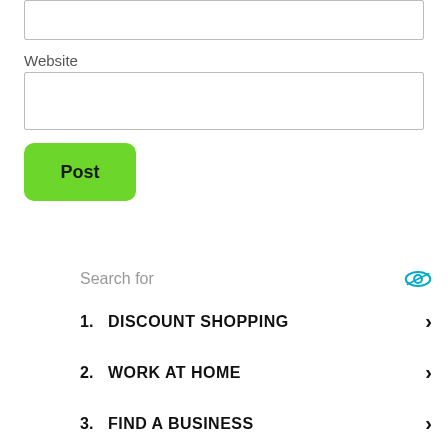Website
Post
Search for
1. DISCOUNT SHOPPING
2. WORK AT HOME
3. FIND A BUSINESS
4. YELLOW PAGES